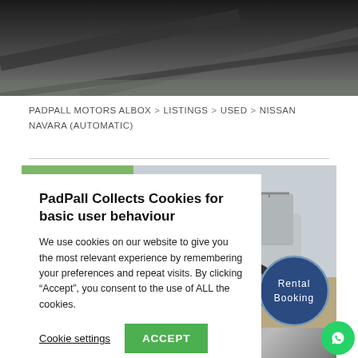[Figure (photo): Dark road/car top image banner at the top of the page]
PADPALL MOTORS ALBOX > LISTINGS > USED > NISSAN NAVARA (AUTOMATIC)
PadPall Collects Cookies for basic user behaviour

We use cookies on our website to give you the most relevant experience by remembering your preferences and repeat visits. By clicking "Accept", you consent to the use of ALL the cookies.

Cookie settings   ACCEPT
[Figure (photo): Silver Nissan Navara pickup truck with canopy, parked on gravel/dirt ground, side and rear view]
[Figure (photo): Bottom thumbnail images of the Nissan Navara vehicle]